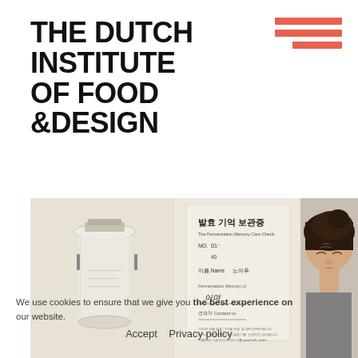[Figure (logo): The Dutch Institute of Food & Design logo in bold black uppercase text]
[Figure (other): Three horizontal salmon/coral colored bars forming a hamburger menu icon in the top right corner]
[Figure (photo): A composite photo showing a glass jar on the left, a Korean document/card with Korean text in the center, and a person grimacing with eyes closed on the right]
We use cookies to ensure that we give you the best experience on our website.
Accept   Privacy policy